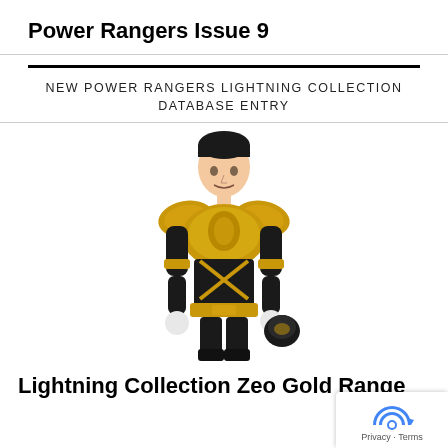Power Rangers Issue 9
NEW POWER RANGERS LIGHTNING COLLECTION DATABASE ENTRY
[Figure (photo): Action figure of Lightning Collection Zeo Gold Ranger wearing black and gold armor, holding a black helmet, with white gloved hands, posed with hands on hips.]
Lightning Collection Zeo Gold Range